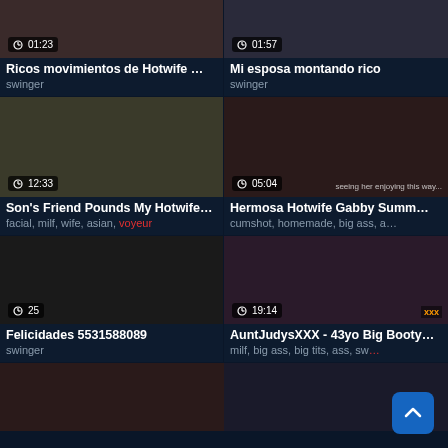[Figure (screenshot): Video thumbnail grid - adult video platform showing 6 video cards in 2-column layout with titles, tags, and duration timers]
Ricos movimientos de Hotwife …
swinger
Mi esposa montando rico
swinger
Son's Friend Pounds My Hotwife…
facial, milf, wife, asian, voyeur
Hermosa Hotwife Gabby Summ…
cumshot, homemade, big ass, a…
Felicidades 5531588089
swinger
AuntJudysXXX - 43yo Big Booty…
milf, big ass, big tits, ass, sw…